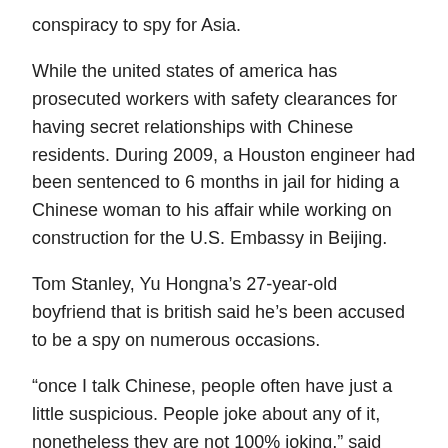conspiracy to spy for Asia.
While the united states of america has prosecuted workers with safety clearances for having secret relationships with Chinese residents. During 2009, a Houston engineer had been sentenced to 6 months in jail for hiding a Chinese woman to his affair while working on construction for the U.S. Embassy in Beijing.
Tom Stanley, Yu Hongna’s 27-year-old boyfriend that is british said he’s been accused to be a spy on numerous occasions.
“once I talk Chinese, people often have just a little suspicious. People joke about any of it, nonetheless they are not 100% joking,” said Stanley, a graduate pupil learning finance at Peking University. “Chinese individuals like spy searching.”
But Yu claims it is Stanley — not her — who does be much